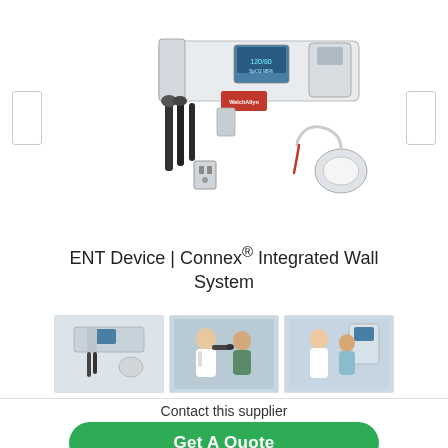[Figure (photo): Welch Allyn Connex Integrated Wall System medical device with ENT instruments, otoscope, ophthalmoscope, blood pressure cuff, and vital signs monitor mounted on wall board]
ENT Device | Connex® Integrated Wall System
[Figure (photo): Three thumbnail images showing the Connex Integrated Wall System: product shot, doctor using device on patient ear, nurse with patient]
Contact this supplier
Get A Quote
📞 Call